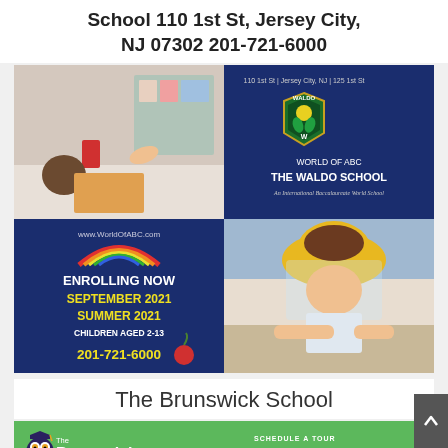School 110 1st St, Jersey City, NJ 07302 201-721-6000
[Figure (infographic): Waldo School advertisement with four quadrants: top-left shows teacher helping child with puzzle, top-right shows Waldo School shield logo on navy background with text '110 1st St | Jersey City, NJ | 125 1st St', 'WORLD OF ABC THE WALDO SCHOOL An International Baccalaureate World School'. Bottom-left on navy background shows rainbow graphic, 'www.WorldOfABC.com', 'ENROLLING NOW', 'SEPTEMBER 2021', 'SUMMER 2021', 'CHILDREN AGED 2-13', '201-721-6000'. Bottom-right shows child in yellow hat with face shield doing an activity.]
The Brunswick School
[Figure (infographic): Brunswick School advertisement on green background showing owl mascot logo, 'The Brunswick' text logo, 'SCHEDULE A TOUR' label, 'Call (201) 478-8886']